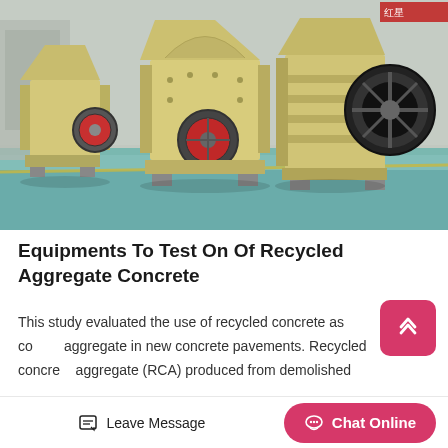[Figure (photo): Industrial crushing machines (jaw crushers and hammer mills) lined up in a factory warehouse with green-tinted floor and yellow painted equipment]
Equipments To Test On Of Recycled Aggregate Concrete
This study evaluated the use of recycled concrete as coarse aggregate in new concrete pavements. Recycled concrete aggregate (RCA) produced from demolished